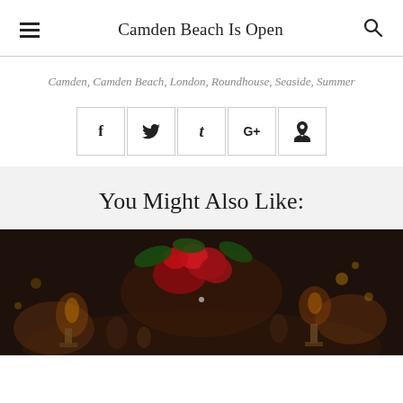Camden Beach Is Open
Camden, Camden Beach, London, Roundhouse, Seaside, Summer
[Figure (other): Social sharing buttons: Facebook (f), Twitter (bird), Tumblr (t), Google+ (G+), Pinterest (P)]
You Might Also Like:
[Figure (photo): Dark atmospheric photo of a dinner table with red floral centerpiece, candles, and glassware]